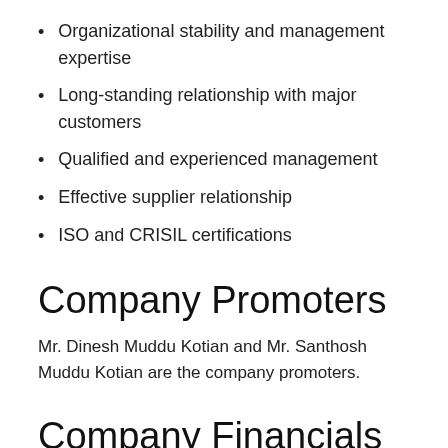Organizational stability and management expertise
Long-standing relationship with major customers
Qualified and experienced management
Effective supplier relationship
ISO and CRISIL certifications
Company Promoters
Mr. Dinesh Muddu Kotian and Mr. Santhosh Muddu Kotian are the company promoters.
Company Financials